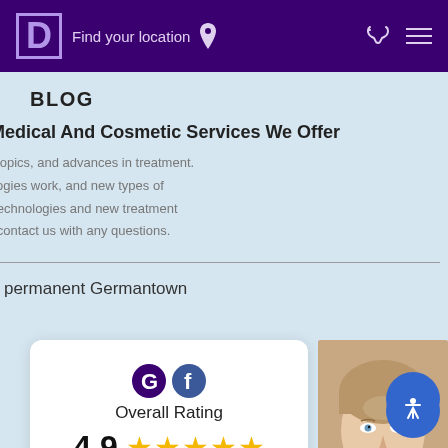D  Find your location
BLOG
Medical And Cosmetic Services We Offer
y topics, and advances in treatment.
ologies work, and new types of
t technologies and new treatment
d contact us with any questions.
al permanent Germantown
[Figure (infographic): Overall Rating card showing Google and Facebook icons, rating 4.9 with 5 gold stars, and a link to read 353 reviews]
[Figure (photo): Close-up portrait of a woman with blue eyes and clean skin, used to represent cosmetic/medical services]